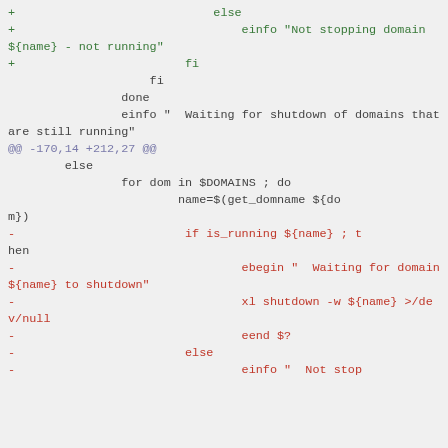[Figure (other): Code diff showing shell script changes for stopping Xen domains, including added lines with einfo and fi, and removed lines with is_running checks and xl shutdown commands]